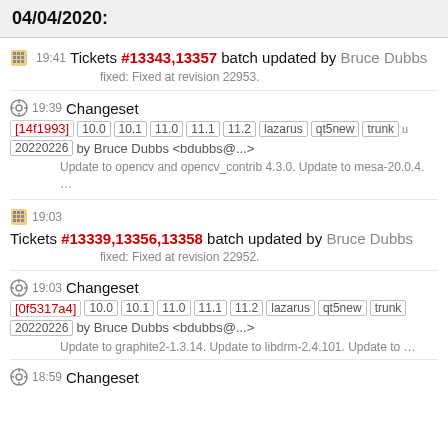04/04/2020:
19:41 Tickets #13343,13357 batch updated by Bruce Dubbs
fixed: Fixed at revision 22953.
19:39 Changeset [14f1993] 10.0 10.1 11.0 11.1 11.2 lazarus qt5new trunk 20220226 by Bruce Dubbs <bdubbs@...>
Update to opencv and opencv_contrib 4.3.0. Update to mesa-20.0.4. ...
19:03 Tickets #13339,13356,13358 batch updated by Bruce Dubbs
fixed: Fixed at revision 22952.
19:03 Changeset [0f5317a4] 10.0 10.1 11.0 11.1 11.2 lazarus qt5new trunk 20220226 by Bruce Dubbs <bdubbs@...>
Update to graphite2-1.3.14. Update to libdrm-2.4.101. Update to ...
18:59 Changeset